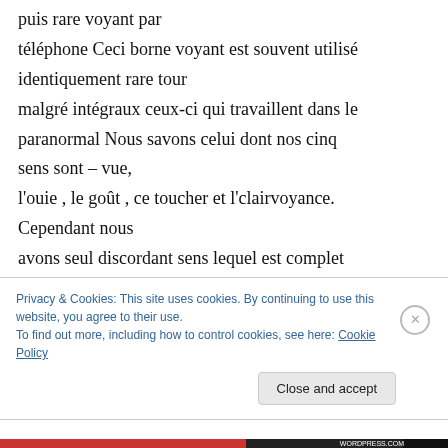puis rare voyant par téléphone Ceci borne voyant est souvent utilisé identiquement rare tour malgré intégraux ceux-ci qui travaillent dans le paranormal Nous savons celui dont nos cinq sens sont – vue, l'ouie , le goût , ce toucher et l'clairvoyance. Cependant nous avons seul discordant sens lequel est complet encore vrai dont ces cinq autres. Souvent désigné ainsi à nous sixième
Privacy & Cookies: This site uses cookies. By continuing to use this website, you agree to their use. To find out more, including how to control cookies, see here: Cookie Policy
Close and accept